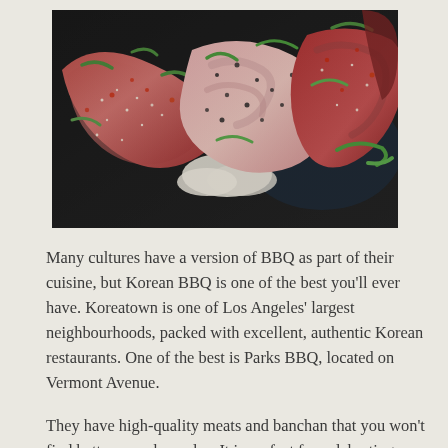[Figure (photo): Close-up photo of raw Korean BBQ meats — including marinated pieces with sesame seeds, sliced green onions, red pepper seasoning, and white onion slices arranged on a dark grill plate.]
Many cultures have a version of BBQ as part of their cuisine, but Korean BBQ is one of the best you'll ever have. Koreatown is one of Los Angeles' largest neighbourhoods, packed with excellent, authentic Korean restaurants. One of the best is Parks BBQ, located on Vermont Avenue.
They have high-quality meats and banchan that you won't find better anywhere else. It is perfect for celebrating special occasions with friends and relatives, but all are welcome. The menu is packed